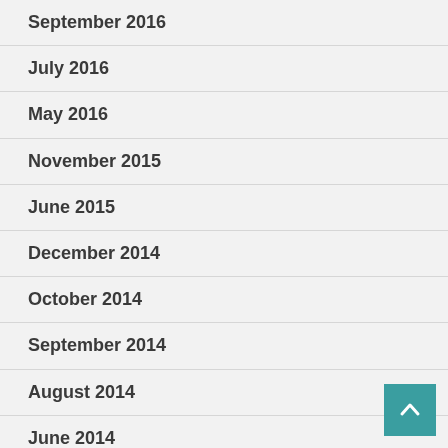September 2016
July 2016
May 2016
November 2015
June 2015
December 2014
October 2014
September 2014
August 2014
June 2014
June 2012
March 2012